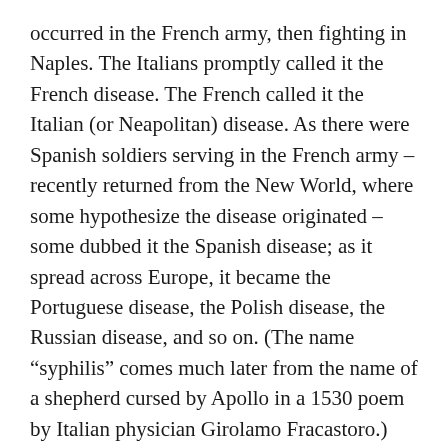occurred in the French army, then fighting in Naples. The Italians promptly called it the French disease. The French called it the Italian (or Neapolitan) disease. As there were Spanish soldiers serving in the French army – recently returned from the New World, where some hypothesize the disease originated – some dubbed it the Spanish disease; as it spread across Europe, it became the Portuguese disease, the Polish disease, the Russian disease, and so on. (The name “syphilis” comes much later from the name of a shepherd cursed by Apollo in a 1530 poem by Italian physician Girolamo Fracastoro.)
Why was the credit for the pox shared so generously? Well, after an incubation period of several weeks to several months, chancres (“shan-kers”) appear on a